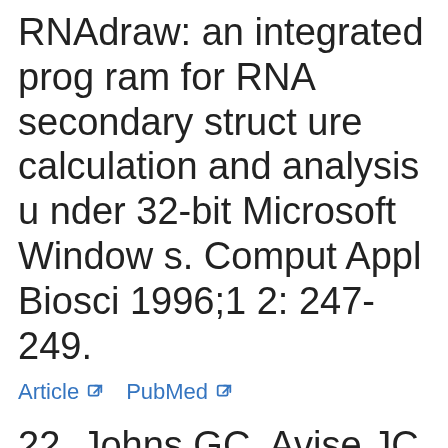RNAdraw: an integrated program for RNA secondary structure calculation and analysis under 32-bit Microsoft Windows. Comput Appl Biosci 1996;12: 247-249.
Article   PubMed
22. Johns GC, Avise JC. A comparative summary of genetic distances in the vertebrates from the mitochondrial cytochrome b gene. Mol Bio Evol 1